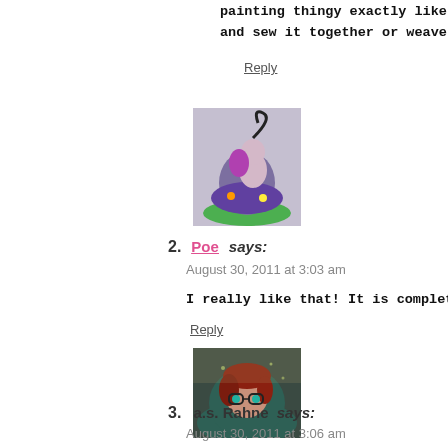painting thingy exactly like tha and sew it together or weave i
Reply
[Figure (photo): Avatar image of a colorful cartoon-like figurine with purple and green tones]
2. Poe says:
August 30, 2011 at 3:03 am
I really like that! It is completely ador
Reply
[Figure (photo): Avatar image of a person with red hair and glasses wearing a dark hooded garment]
3. a.s. Rahne says:
August 30, 2011 at 3:06 am